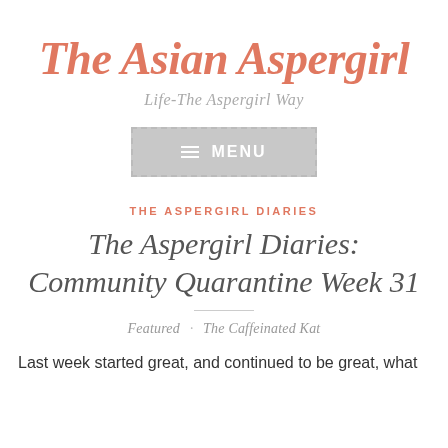The Asian Aspergirl
Life-The Aspergirl Way
[Figure (other): Menu navigation button with hamburger icon and MENU text, gray background with dashed border]
THE ASPERGIRL DIARIES
The Aspergirl Diaries: Community Quarantine Week 31
Featured · The Caffeinated Kat
Last week started great, and continued to be great, what